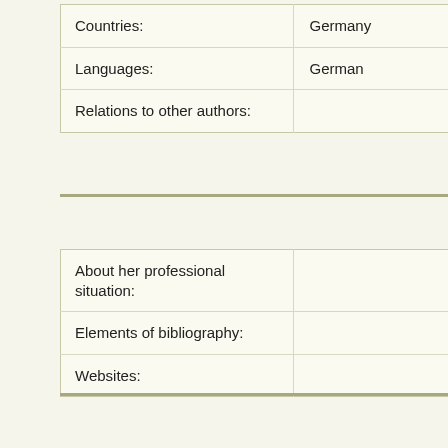| Field | Value |
| --- | --- |
| Countries: | Germany |
| Languages: | German |
| Relations to other authors: |  |
| Field | Value |
| --- | --- |
| About her professional situation: |  |
| Elements of bibliography: |  |
| Websites: |  |
| Field | Value |
| --- | --- |
| Editors: | Suzan van Dijk (update on |
Works written by this author
1 Adrienne (1829)
2 Die Assassinen (1832)
3 Die Rose von Innsbruck (1844)